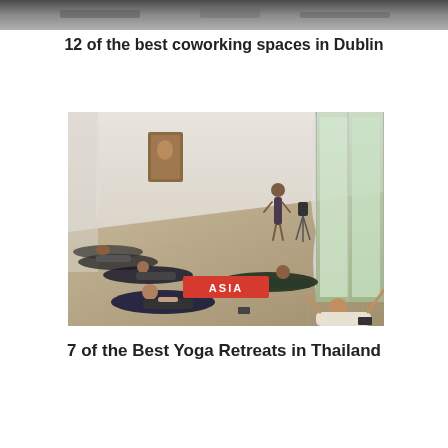[Figure (photo): Top strip of a photo showing what appears to be a coworking space, partially cropped at top edge]
12 of the best coworking spaces in Dublin
[Figure (photo): Indoor yoga retreat scene showing multiple people lying on yoga mats in a large open studio with high ceilings, curtains and windows. An instructor stands in the background. A red badge overlay reads ASIA.]
7 of the Best Yoga Retreats in Thailand